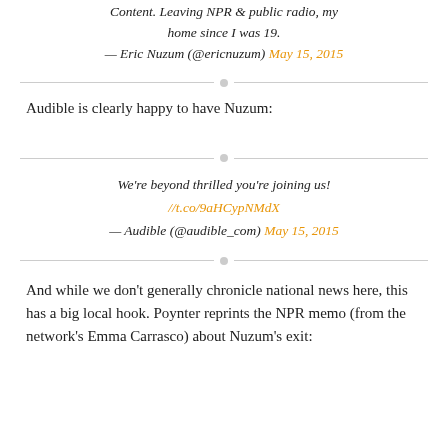Content. Leaving NPR & public radio, my home since I was 19.
— Eric Nuzum (@ericnuzum) May 15, 2015
Audible is clearly happy to have Nuzum:
We're beyond thrilled you're joining us!
//t.co/9aHCypNMdX
— Audible (@audible_com) May 15, 2015
And while we don't generally chronicle national news here, this has a big local hook. Poynter reprints the NPR memo (from the network's Emma Carrasco) about Nuzum's exit: